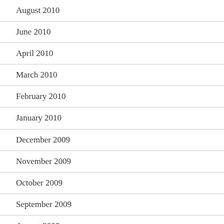August 2010
June 2010
April 2010
March 2010
February 2010
January 2010
December 2009
November 2009
October 2009
September 2009
August 2009